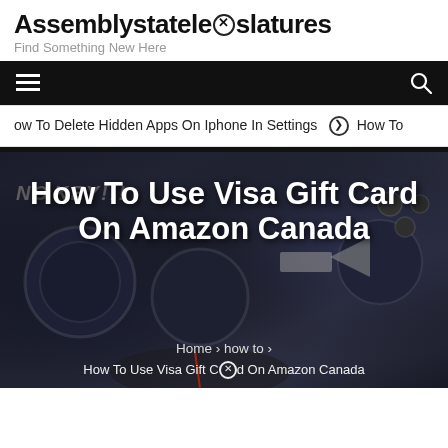Assemblystatelegislatures
Find Something New Here
[Figure (screenshot): Black navigation bar with hamburger menu icon on left and search icon on right]
ow To Delete Hidden Apps On Iphone In Settings  ❯  How To
[Figure (photo): Dark motorcycle dashboard/controls background with overlaid article title text: How To Use Visa Gift Card On Amazon Canada, breadcrumb: Home > how to > How To Use Visa Gift Card On Amazon Canada]